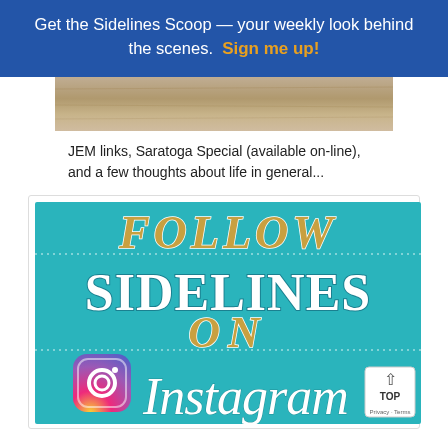Get the Sidelines Scoop — your weekly look behind the scenes. Sign me up!
[Figure (photo): Partial image of a wooden surface or background, cropped at top]
JEM links, Saratoga Special (available on-line), and a few thoughts about life in general...
[Figure (infographic): Teal/turquoise promotional banner reading FOLLOW SIDELINES ON Instagram with Instagram logo icon]